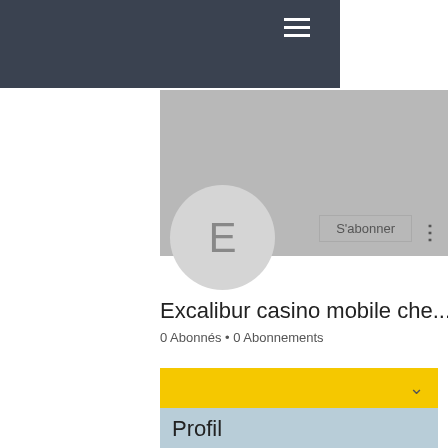[Figure (screenshot): Dark navigation bar with hamburger menu icon (three white lines) in top right]
[Figure (screenshot): Grey banner/cover image area for the channel profile]
[Figure (screenshot): Circular avatar with letter E, grey background]
S'abonner
Excalibur casino mobile che...
0 Abonnés • 0 Abonnements
[Figure (screenshot): Yellow collapsible bar with chevron down icon]
Profil
A rejoint le : 17 mai 2022